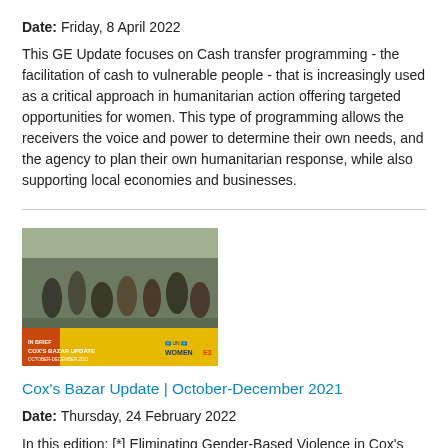Date: Friday, 8 April 2022
This GE Update focuses on Cash transfer programming - the facilitation of cash to vulnerable people - that is increasingly used as a critical approach in humanitarian action offering targeted opportunities for women. This type of programming allows the receivers the voice and power to determine their own needs, and the agency to plan their own humanitarian response, while also supporting local economies and businesses.
[Figure (photo): Cox's Bazar Update publication cover image showing a crowd of people with a yellow banner at the bottom reading 'COX'S BAZAR UPDATE' and UN Women logo]
Cox's Bazar Update | October-December 2021
Date: Thursday, 24 February 2022
In this edition: [*] Eliminating Gender-Based Violence in Cox's Bazar was discussed during the 16 Days of Activism campaign [*] Acting against gender-based violence in Cox's Bazar [*] Orange handprints to raise awareness against gender-based violence in Multi-Purpose Women's Centres [*] Women and girls in Cox's Bazar say "No to